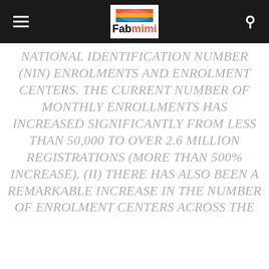Fabmimi
NATIONAL IDENTIFICATION NUMBER (NIN) ENROLMENTS AND ENROLMENT CENTERS. THE CURRENT NUMBER OF MONTHLY ENROLLMENTS HAS INCREASED SIGNIFICANTLY FROM LESS THAN 50,000 TO OVER 2.6 MILLION REGISTRATIONS (MORE THAN 500% INCREASE). (II) THERE HAS ALSO BEEN A REMARKABLE INCREASE IN THE NUMBER OF ENROLMENT CENTERS ACROSS THE